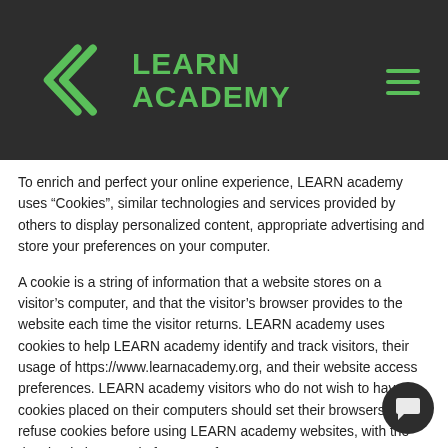LEARN ACADEMY
To enrich and perfect your online experience, LEARN academy uses “Cookies”, similar technologies and services provided by others to display personalized content, appropriate advertising and store your preferences on your computer.
A cookie is a string of information that a website stores on a visitor’s computer, and that the visitor’s browser provides to the website each time the visitor returns. LEARN academy uses cookies to help LEARN academy identify and track visitors, their usage of https://www.learnacademy.org, and their website access preferences. LEARN academy visitors who do not wish to have cookies placed on their computers should set their browsers to refuse cookies before using LEARN academy websites, with the drawback that certain features of